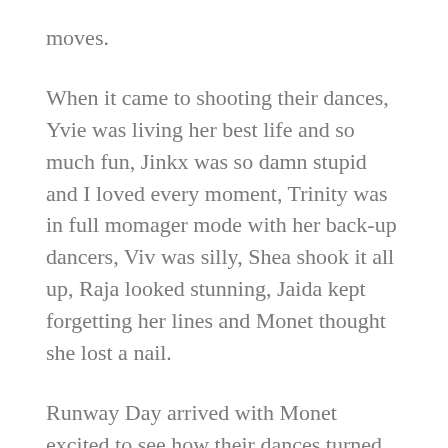moves.
When it came to shooting their dances, Yvie was living her best life and so much fun, Jinkx was so damn stupid and I loved every moment, Trinity was in full momager mode with her back-up dancers, Viv was silly, Shea shook it all up, Raja looked stunning, Jaida kept forgetting her lines and Monet thought she lost a nail.
Runway Day arrived with Monet excited to see how their dances turned out and more importantly, grab herself a second star. Finally. Shea meanwhile opened up about dreaming of being a dancer as a child, explaining that she took that vibe into the challenge. Shea and Monet then tried to identify their mononym, which immediately made Jaida went in, Trinity and